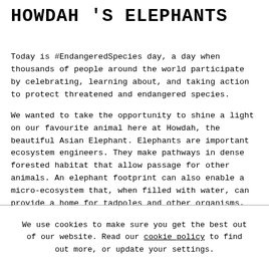HOWDAH 'S ELEPHANTS
Today is #EndangeredSpecies day, a day when thousands of people around the world participate by celebrating, learning about, and taking action to protect threatened and endangered species.
We wanted to take the opportunity to shine a light on our favourite animal here at Howdah, the beautiful Asian Elephant. Elephants are important ecosystem engineers. They make pathways in dense forested habitat that allow passage for other animals. An elephant footprint can also enable a micro-ecosystem that, when filled with water, can provide a home for tadpoles and other organisms. They help
We use cookies to make sure you get the best out of our website. Read our cookie policy to find out more, or update your settings.